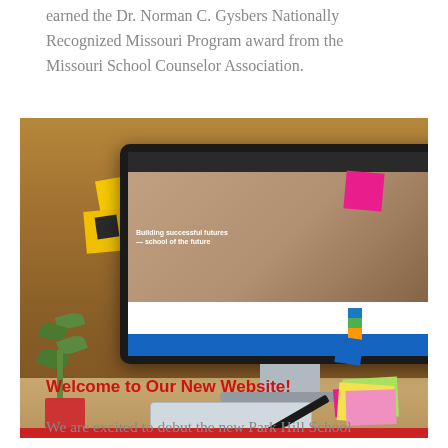earned the Dr. Norman C. Gysbers Nationally Recognized Missouri Program award from the Missouri School Counselor Association.
[Figure (photo): A desktop computer monitor displaying a school website with the text 'Building successful futures' on screen. The monitor is surrounded by colorful sticky notes (yellow, pink, blue). On the desk are a red coffee mug, a green plant, a white keyboard, glasses, a stack of colorful sticky notes, and a pen. The desk has a red stripe at the bottom.]
Welcome to Our New Website!
We are excited to debut the new Park Hill School